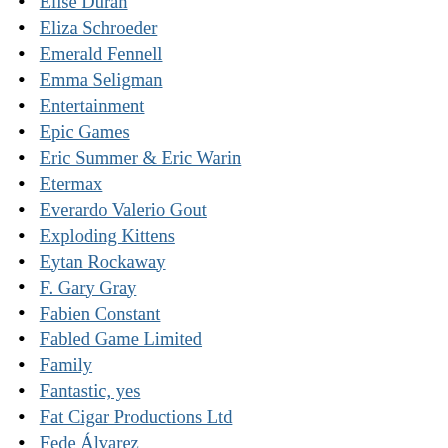Elise Duran
Eliza Schroeder
Emerald Fennell
Emma Seligman
Entertainment
Epic Games
Eric Summer & Eric Warin
Etermax
Everardo Valerio Gout
Exploding Kittens
Eytan Rockaway
F. Gary Gray
Fabien Constant
Fabled Game Limited
Family
Fantastic, yes
Fat Cigar Productions Ltd
Fede Álvarez
Fifth Star Labs LLC